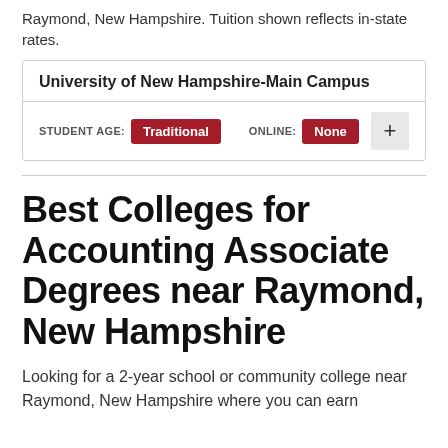Raymond, New Hampshire. Tuition shown reflects in-state rates.
| University of New Hampshire-Main Campus |
| --- |
| STUDENT AGE: Traditional | ONLINE: None | + |
Best Colleges for Accounting Associate Degrees near Raymond, New Hampshire
Looking for a 2-year school or community college near Raymond, New Hampshire where you can earn